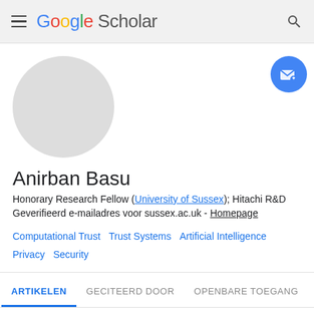Google Scholar
[Figure (illustration): Gray circular avatar placeholder for profile photo]
Anirban Basu
Honorary Research Fellow (University of Sussex); Hitachi R&D
Geverifieerd e-mailadres voor sussex.ac.uk - Homepage
Computational Trust
Trust Systems
Artificial Intelligence
Privacy
Security
ARTIKELEN   GECITEERD DOOR   OPENBARE TOEGANG   ME...
SORTEREN ▼                    GECITEERD DOOR